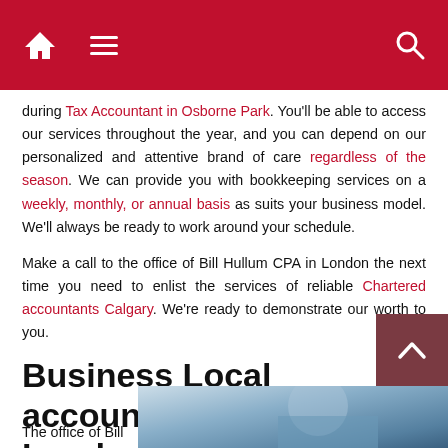Navigation bar with home icon, hamburger menu, and search icon
during Tax Accountant in Osborne Park. You'll be able to access our services throughout the year, and you can depend on our personalized and attentive brand of care regardless of the season. We can provide you with bookkeeping services on a weekly, monthly, or annual basis as suits your business model. We'll always be ready to work around your schedule.
Make a call to the office of Bill Hullum CPA in London the next time you need to enlist the services of reliable Chartered accountants Calgary. We're ready to demonstrate our worth to you.
Business Local accountants near me in London
The office of Bill
[Figure (photo): Photo of person in business attire, blue tones, partial view]